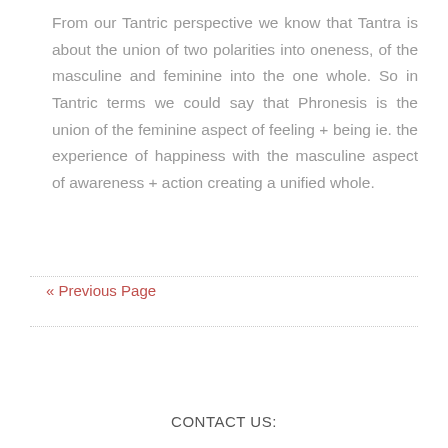From our Tantric perspective we know that Tantra is about the union of two polarities into oneness, of the masculine and feminine into the one whole. So in Tantric terms we could say that Phronesis is the union of the feminine aspect of feeling + being ie. the experience of happiness with the masculine aspect of awareness + action creating a unified whole.
« Previous Page
CONTACT US: